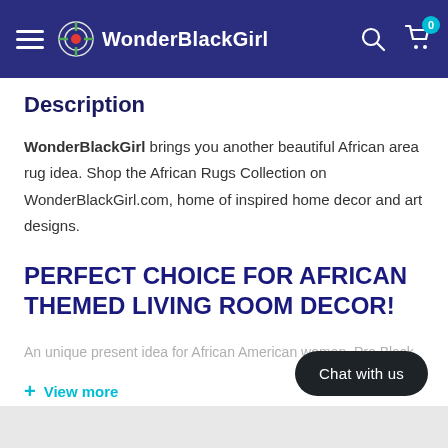WonderBlackGirl
Description
WonderBlackGirl brings you another beautiful African area rug idea. Shop the African Rugs Collection on WonderBlackGirl.com, home of inspired home decor and art designs.
PERFECT CHOICE FOR AFRICAN THEMED LIVING ROOM DECOR!
An unique present idea for African American women, Pro Black
+ View more